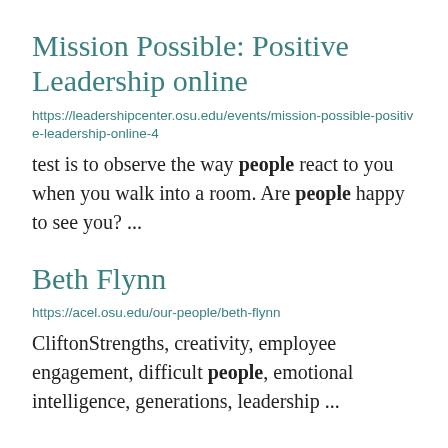Mission Possible: Positive Leadership online
https://leadershipcenter.osu.edu/events/mission-possible-positive-leadership-online-4
test is to observe the way people react to you when you walk into a room. Are people happy to see you? ...
Beth Flynn
https://acel.osu.edu/our-people/beth-flynn
CliftonStrengths, creativity, employee engagement, difficult people, emotional intelligence, generations, leadership ...